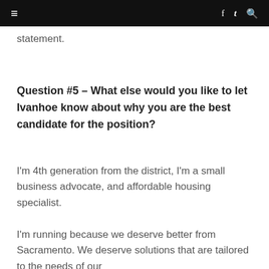≡   f  𝕥  🔍
statement.
Question #5 – What else would you like to let Ivanhoe know about why you are the best candidate for the position?
I'm 4th generation from the district, I'm a small business advocate, and affordable housing specialist.
I'm running because we deserve better from Sacramento. We deserve solutions that are tailored to the needs of our